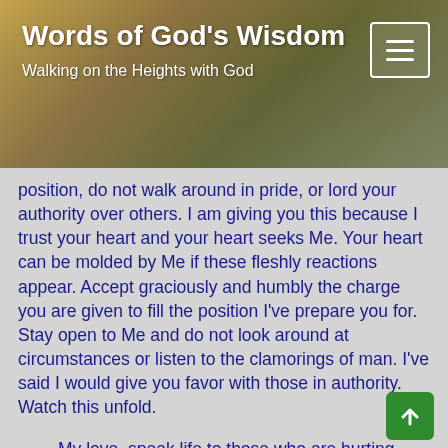Words of God's Wisdom
Walking on the Heights with God
position, do not walk around in pride, or lord your authority over others. I am giving you this because I trust your heart and your heart seeks Me. Your heart can be molded by Me if these fleshly reactions appear. Accept graciously and humbly the charge you are given to fill the position I've prepare you for. Stay open to Me and do not look around at circumstances or listen to the clamorings of man. I've said I would give you favor with those in authority.  Watch this unfold.
My love, speak life to those who are hurting, bind up those with wounds, build up those with insecurities, strengthen the weak,